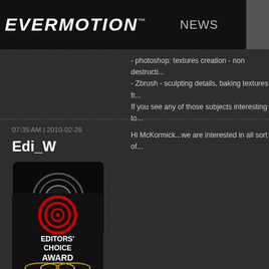EVERMOTION™  NEWS  SHOP
- photoshop: textures creation - non destructi...
- Zbrush - sculpting details, baking textures fr...
If you see any of those subjects interesting to...
07:35 AM | 2010-02-26
Edi_W
[Figure (logo): Evermotion team avatar - circular logo with E symbol on black background, labeled 'evermotion team']
[Figure (logo): Editors' Choice Award badge with red target/bullseye icon, text EDITORS' CHOICE AWARD, and gold rings at bottom]
Hi McKormick...we are interested in all sort of...